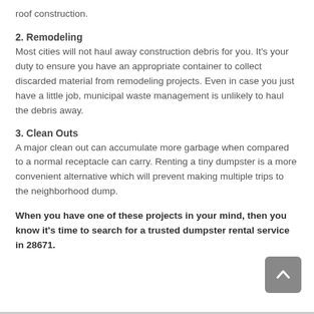roof construction.
2. Remodeling
Most cities will not haul away construction debris for you. It's your duty to ensure you have an appropriate container to collect discarded material from remodeling projects. Even in case you just have a little job, municipal waste management is unlikely to haul the debris away.
3. Clean Outs
A major clean out can accumulate more garbage when compared to a normal receptacle can carry. Renting a tiny dumpster is a more convenient alternative which will prevent making multiple trips to the neighborhood dump.
When you have one of these projects in your mind, then you know it's time to search for a trusted dumpster rental service in 28671.